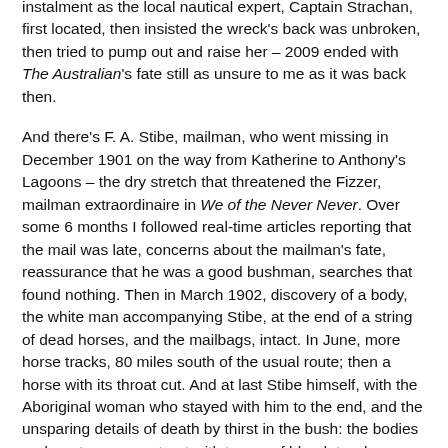instalment as the local nautical expert, Captain Strachan, first located, then insisted the wreck's back was unbroken, then tried to pump out and raise her – 2009 ended with The Australian's fate still as unsure to me as it was back then.
And there's F. A. Stibe, mailman, who went missing in December 1901 on the way from Katherine to Anthony's Lagoons – the dry stretch that threatened the Fizzer, mailman extraordinaire in We of the Never Never. Over some 6 months I followed real-time articles reporting that the mail was late, concerns about the mailman's fate, reassurance that he was a good bushman, searches that found nothing. Then in March 1902, discovery of a body, the white man accompanying Stibe, at the end of a string of dead horses, and the mailbags, intact. In June, more horse tracks, 80 miles south of the usual route; then a horse with its throat cut. And at last Stibe himself, with the Aboriginal woman who stayed with him to the end, and the unsparing details of death by thirst in the bush: the bodies under a tree, a quart-pot with traces of blood, two large holes, and the fingers of the dead worn down from digging – worst of all, that the tracks had gone in circles, in the classic mode, so the-died-and-family-from-the-next-the-right-mode. T